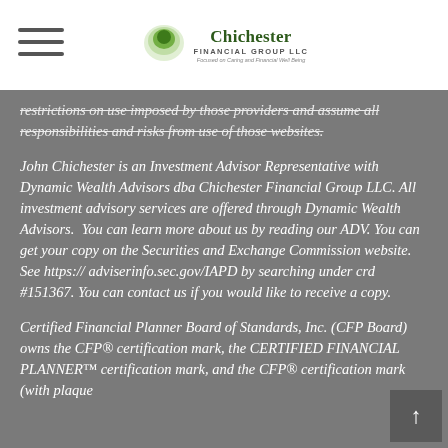Chichester Financial Group LLC
restrictions on use imposed by those providers and assume all responsibilities and risks from use of those websites.
John Chichester is an Investment Advisor Representative with Dynamic Wealth Advisors dba Chichester Financial Group LLC. All investment advisory services are offered through Dynamic Wealth Advisors.  You can learn more about us by reading our ADV. You can get your copy on the Securities and Exchange Commission website. See https:// adviserinfo.sec.gov/IAPD by searching under crd #151367. You can contact us if you would like to receive a copy.
Certified Financial Planner Board of Standards, Inc. (CFP Board) owns the CFP® certification mark, the CERTIFIED FINANCIAL PLANNER™ certification mark, and the CFP® certification mark (with plaque